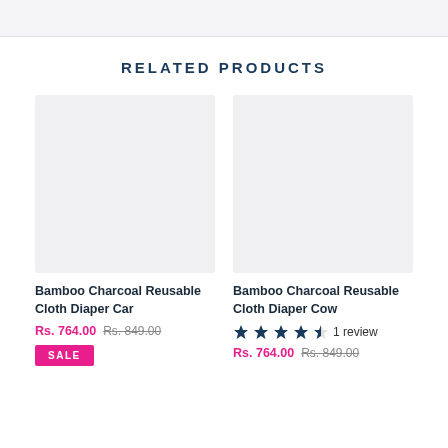RELATED PRODUCTS
[Figure (photo): Product image placeholder for Bamboo Charcoal Reusable Cloth Diaper Car — light grey empty box]
Bamboo Charcoal Reusable Cloth Diaper Car
Rs. 764.00  Rs. 849.00  SALE
[Figure (photo): Product image placeholder for Bamboo Charcoal Reusable Cloth Diaper Cow — light grey empty box]
Bamboo Charcoal Reusable Cloth Diaper Cow
1 review  Rs. 764.00  Rs. 849.00